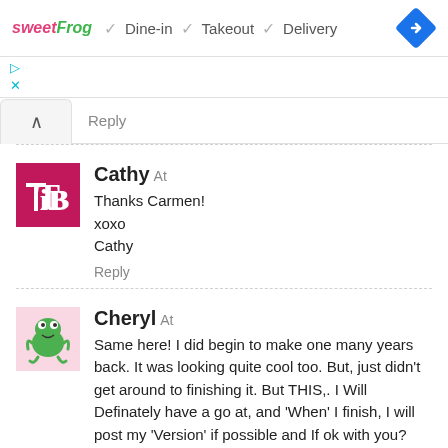[Figure (screenshot): Ad banner with sweetFrog logo, checkmarks for Dine-in, Takeout, Delivery, and a blue navigation diamond icon]
[Figure (screenshot): Ad control buttons (play and close icons in cyan)]
Reply
Cathy At
Thanks Carmen!
xoxo
Cathy
Reply
Cheryl At
Same here! I did begin to make one many years back. It was looking quite cool too. But, just didn't get around to finishing it. But THIS,. I Will Definately have a go at, and 'When' I finish, I will post my 'Version' if possible and If ok with you?  Thanks So